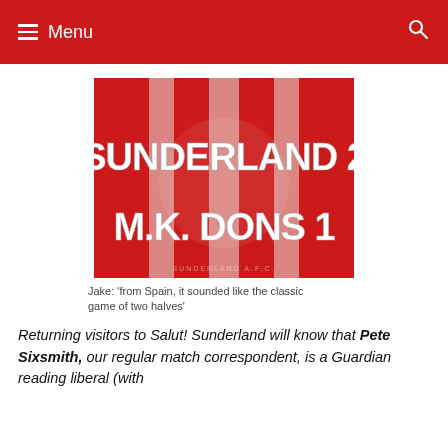Menu
[Figure (photo): Score graphic showing 'SUNDERLAND 2 M.K. DONS 1' in large white bold text on a red and striped background with Sunderland AFC crest watermark]
Jake: ‘from Spain, it sounded like the classic game of two halves’
Returning visitors to Salut! Sunderland will know that Pete Sixsmith, our regular match correspondent, is a Guardian reading liberal (with